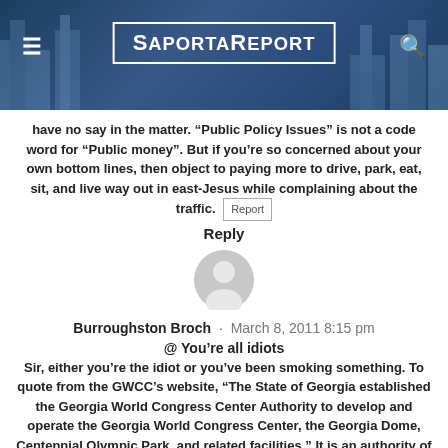SaportaReport
have no say in the matter. “Public Policy Issues” is not a code word for “Public money”. But if you’re so concerned about your own bottom lines, then object to paying more to drive, park, eat, sit, and live way out in east-Jesus while complaining about the traffic.
Reply
[Figure (illustration): Generic user avatar circle icon in gray]
Burroughston Broch · March 8, 2011 8:15 pm
@ You’re all idiots
Sir, either you’re the idiot or you’ve been smoking something. To quote from the GWCC’s website, “The State of Georgia established the Georgia World Congress Center Authority to develop and operate the Georgia World Congress Center, the Georgia Dome, Centennial Olympic Park, and related facilities.” It is an authority of the State and is funded with State funds. Don’t you remember the moaning and groaning of the past few years that the GWCC was running a deficit?